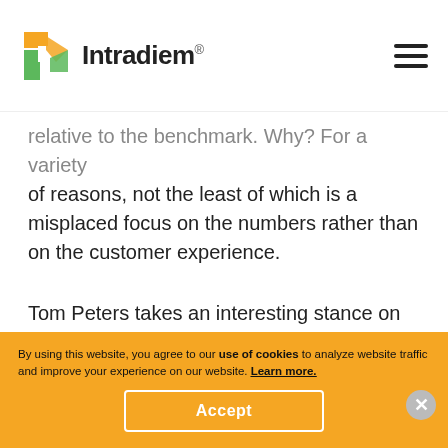Intradiem®
relative to the benchmark. Why? For a variety of reasons, not the least of which is a misplaced focus on the numbers rather than on the customer experience.
Tom Peters takes an interesting stance on benchmarking – and addresses that movement – in a talk he gave back in 2007:
"I hate benchmarking. Benchmarking is stupid. Why is it stupid? Because we pick the current industry leader, and then we launch a five-year
By using this website, you agree to our use of cookies to analyze website traffic and improve your experience on our website. Learn more.